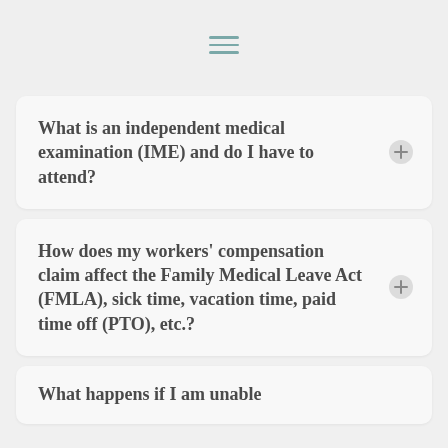navigation menu icon
What is an independent medical examination (IME) and do I have to attend?
How does my workers' compensation claim affect the Family Medical Leave Act (FMLA), sick time, vacation time, paid time off (PTO), etc.?
What happens if I am unable...